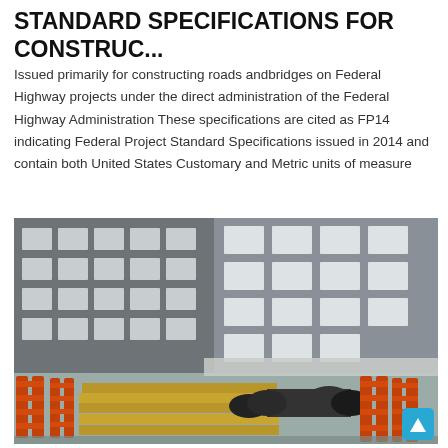STANDARD SPECIFICATIONS FOR CONSTRUC...
Issued primarily for constructing roads andbridges on Federal Highway projects under the direct administration of the Federal Highway Administration These specifications are cited as FP14 indicating Federal Project Standard Specifications issued in 2014 and contain both United States Customary and Metric units of measure
[Figure (photo): Outdoor industrial yard scene showing orange metal scaffolding/frame structures stacked with wooden planks and large cylindrical rollers/drums, in front of a multi-story grey concrete building with white-framed windows. A small cyan navigation button is visible at the bottom right of the image.]